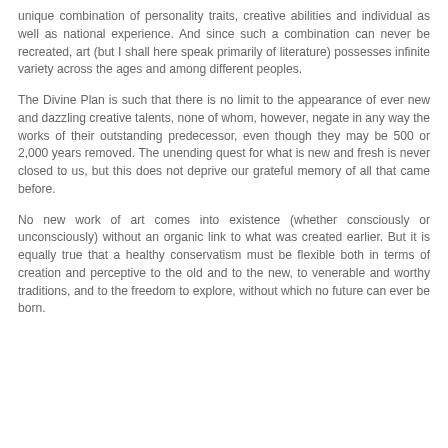unique combination of personality traits, creative abilities and individual as well as national experience. And since such a combination can never be recreated, art (but I shall here speak primarily of literature) possesses infinite variety across the ages and among different peoples.
The Divine Plan is such that there is no limit to the appearance of ever new and dazzling creative talents, none of whom, however, negate in any way the works of their outstanding predecessor, even though they may be 500 or 2,000 years removed. The unending quest for what is new and fresh is never closed to us, but this does not deprive our grateful memory of all that came before.
No new work of art comes into existence (whether consciously or unconsciously) without an organic link to what was created earlier. But it is equally true that a healthy conservatism must be flexible both in terms of creation and perceptive to the old and to the new, to venerable and worthy traditions, and to the freedom to explore, without which no future can ever be born.